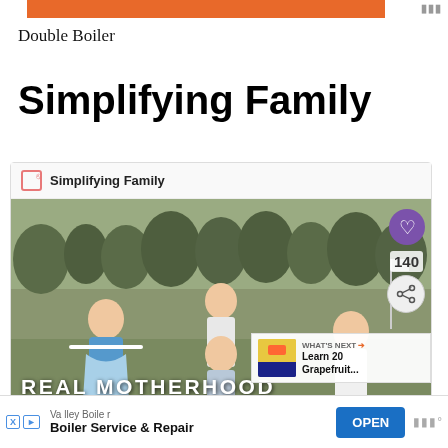Double Boiler
Simplifying Family
Simplifying Family
[Figure (photo): Four children playing outdoors in a field with trees in background. Text overlay reads REAL MOTHERHOOD. UI overlays include heart button, share button (140 count), and a What's Next panel showing Learn 20 Grapefruit...]
Valley Boiler
Boiler Service & Repair
OPEN